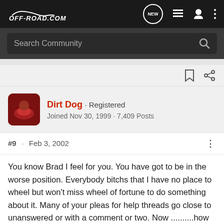[Figure (screenshot): OFF-ROAD.COM navigation bar with logo, new message bubble icon, list icon, user icon, and three-dot menu icon on dark background]
[Figure (screenshot): Search Community search bar on dark grey background with magnifying glass icon]
Dirt Dog · Registered
Joined Nov 30, 1999 · 7,409 Posts
#9 · Feb 3, 2002
You know Brad I feel for you. You have got to be in the worse position. Everybody bitchs that I have no place to wheel but won't miss wheel of fortune to do something about it. Many of your pleas for help threads go close to unanswered or with a comment or two. Now ..........how long has everybody been bitching that the BBS is slower than crap and so on. And since you are the closest thing we have to the ORC uppers